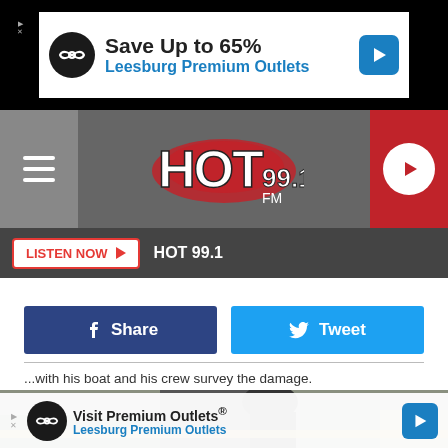[Figure (screenshot): Advertisement banner: Save Up to 65% Leesburg Premium Outlets with infinity logo icon and blue arrow]
[Figure (screenshot): HOT 99.1 FM radio station navigation bar with hamburger menu, HOT 99.1 logo, and red play button]
LISTEN NOW  HOT 99.1
[Figure (screenshot): Facebook Share and Twitter Tweet social share buttons]
...with his boat and his crew survey the damage.
[Figure (photo): Man in dark baseball cap and dark shirt walking outdoors near wood debris]
[Figure (screenshot): Advertisement banner: Visit Premium Outlets® Leesburg Premium Outlets with infinity logo and blue arrow]